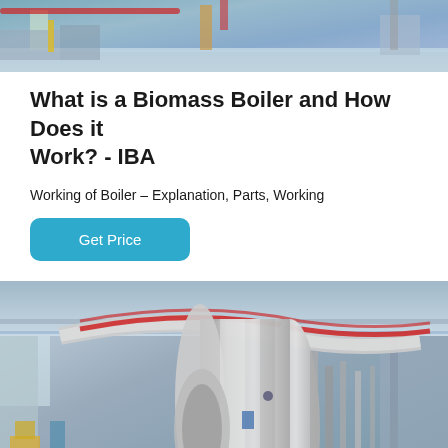[Figure (photo): Industrial boiler room with machinery and equipment, aerial/wide angle view]
What is a Biomass Boiler and How Does it Work? - IBA
Working of Boiler – Explanation, Parts, Working
Get Price
[Figure (photo): Large industrial biomass boiler with silver cylindrical tank and pipes in a factory or plant building, wide angle view from floor level]